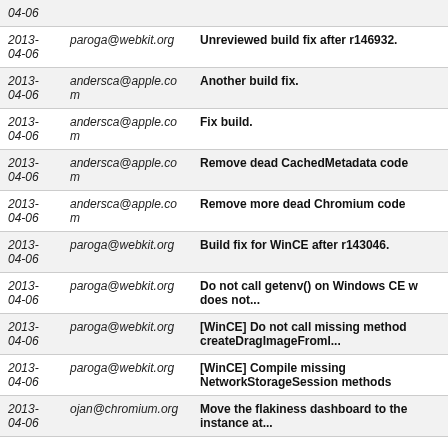| Date | Author | Message |
| --- | --- | --- |
| 2013-04-06 |  | 04-06 |
| 2013-04-06 | paroga@webkit.org | Unreviewed build fix after r146932. |
| 2013-04-06 | andersca@apple.com | Another build fix. |
| 2013-04-06 | andersca@apple.com | Fix build. |
| 2013-04-06 | andersca@apple.com | Remove dead CachedMetadata code |
| 2013-04-06 | andersca@apple.com | Remove more dead Chromium code |
| 2013-04-06 | paroga@webkit.org | Build fix for WinCE after r143046. |
| 2013-04-06 | paroga@webkit.org | Do not call getenv() on Windows CE w does not... |
| 2013-04-06 | paroga@webkit.org | [WinCE] Do not call missing method createDragImageFromI... |
| 2013-04-06 | paroga@webkit.org | [WinCE] Compile missing NetworkStorageSession methods |
| 2013-04-06 | ojan@chromium.org | Move the flakiness dashboard to the instance at... |